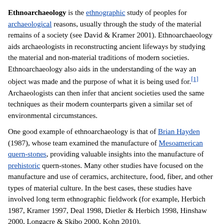Ethnoarchaeology is the ethnographic study of peoples for archaeological reasons, usually through the study of the material remains of a society (see David & Kramer 2001). Ethnoarchaeology aids archaeologists in reconstructing ancient lifeways by studying the material and non-material traditions of modern societies. Ethnoarchaeology also aids in the understanding of the way an object was made and the purpose of what it is being used for.[1] Archaeologists can then infer that ancient societies used the same techniques as their modern counterparts given a similar set of environmental circumstances.
One good example of ethnoarchaeology is that of Brian Hayden (1987), whose team examined the manufacture of Mesoamerican quern-stones, providing valuable insights into the manufacture of prehistoric quern-stones. Many other studies have focused on the manufacture and use of ceramics, architecture, food, fiber, and other types of material culture. In the best cases, these studies have involved long term ethnographic fieldwork (for example, Herbich 1987, Kramer 1997, Deal 1998, Dietler & Herbich 1998, Hinshaw 2000, Longacre & Skibo 2000, Kohn 2010).
Origins and development
Although ethnography has long been used by archaeologists to